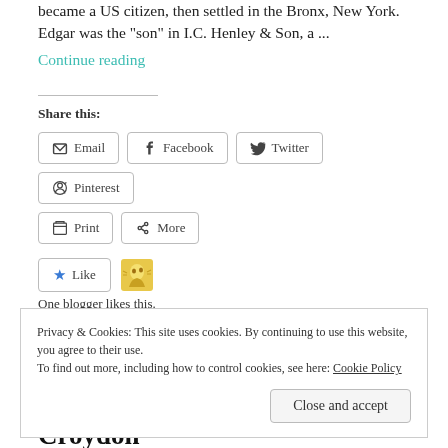became a US citizen, then settled in the Bronx, New York. Edgar was the "son" in I.C. Henley & Son, a ...
Continue reading
Share this:
Email
Facebook
Twitter
Pinterest
Print
More
Like
One blogger likes this.
Privacy & Cookies: This site uses cookies. By continuing to use this website, you agree to their use.
To find out more, including how to control cookies, see here: Cookie Policy
Close and accept
Croydon